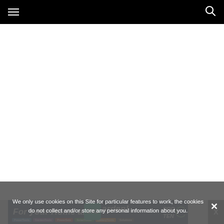Navigation bar with hamburger menu and search icon
[Figure (screenshot): White blank main content area below navigation bar]
We only use cookies on this Site for particular features to work, the cookies do not collect and/or store any personal information about you.
[Figure (screenshot): Advertisement banner for home and garden products with OkG logo and PRO TEN branding, showing product category tags at bottom]